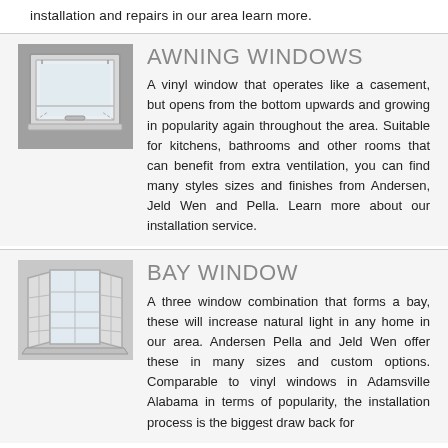installation and repairs in our area learn more.
[Figure (illustration): Awning window illustration showing a rectangular window opened from the bottom]
AWNING WINDOWS
A vinyl window that operates like a casement, but opens from the bottom upwards and growing in popularity again throughout the area. Suitable for kitchens, bathrooms and other rooms that can benefit from extra ventilation, you can find many styles sizes and finishes from Andersen, Jeld Wen and Pella. Learn more about our installation service.
[Figure (illustration): Bay window illustration showing a three-panel bay window from exterior view]
BAY WINDOW
A three window combination that forms a bay, these will increase natural light in any home in our area. Andersen Pella and Jeld Wen offer these in many sizes and custom options. Comparable to vinyl windows in Adamsville Alabama in terms of popularity, the installation process is the biggest draw back for